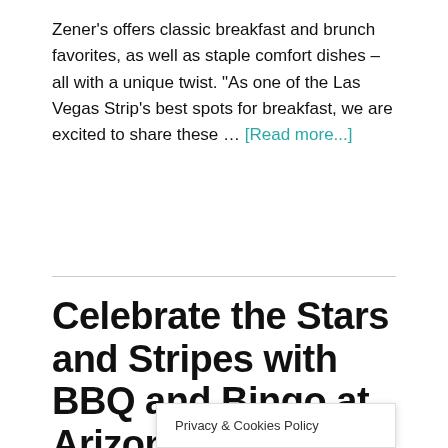Zener's offers classic breakfast and brunch favorites, as well as staple comfort dishes – all with a unique twist. "As one of the Las Vegas Strip's best spots for breakfast, we are excited to share these … [Read more...]
Celebrate the Stars and Stripes with BBQ and Bingo at Arizona Charlie's this Fourth of July
June 15, 2022 By VegasPublicity
Privacy & Cookies Policy